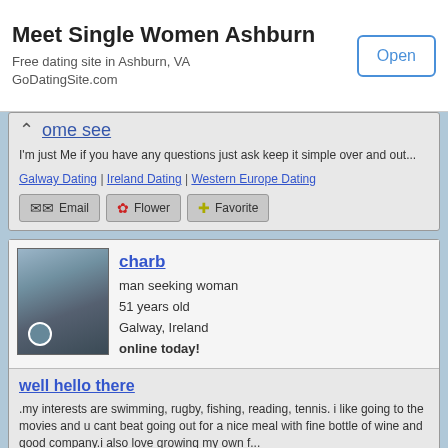[Figure (screenshot): Advertisement banner: Meet Single Women Ashburn, Free dating site in Ashburn, VA, GoDatingSite.com, with Open button]
I'm just Me if you have any questions just ask keep it simple over and out...
Galway Dating | Ireland Dating | Western Europe Dating
Email | Flower | Favorite buttons
charb - man seeking woman, 51 years old, Galway, Ireland, online today!
well hello there
.my interests are swimming, rugby, fishing, reading, tennis. i like going to the movies and u cant beat going out for a nice meal with fine bottle of wine and good company.i also love growing my own f...
Galway Dating | Ireland Dating | Western Europe Dating
Email | Flower | Favorite buttons